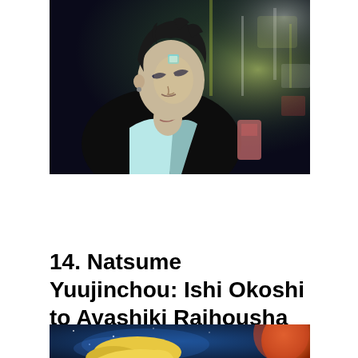[Figure (illustration): Anime illustration of a dark-haired male character with spiky black hair, wearing a dark jacket open at the chest, with glowing marks on his face and arm. Urban nighttime background with blurred city lights in green and white.]
14. Natsume Yuujinchou: Ishi Okoshi to Ayashiki Raihousha
[Figure (illustration): Anime illustration showing a blonde character against a starry blue space background with a large orange/red spherical object visible on the right side.]